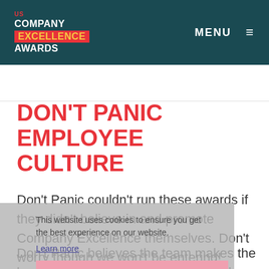US COMPANY EXCELLENCE AWARDS | MENU
DON’T PANIC EMPLOYEE CULTURE
Don’t Panic couldn’t run these awards if they didn’t believe in and promote Company Excellence themselves. Don’t worry though we won’t be entering!
This website uses cookies to ensure you get the best experience on our website. Learn more Got it!
Don’t Panic believes the team makes the business and without their talent and